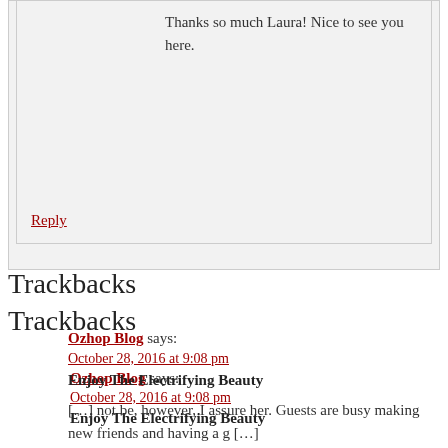Thanks so much Laura! Nice to see you here.
Reply
Trackbacks
Ozhop Blog says:
October 28, 2016 at 9:08 pm
Enjoy The Electrifying Beauty
[…] not be, however, I assure her. Guests are busy making new friends and having a g […]
Reply